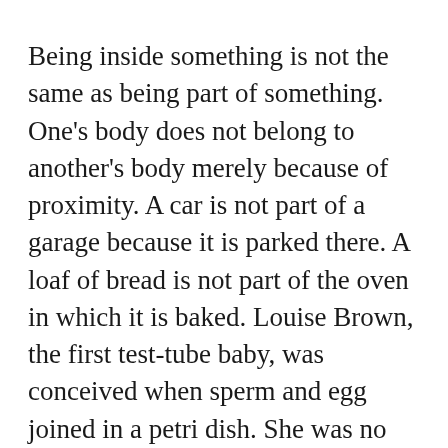Being inside something is not the same as being part of something. One's body does not belong to another's body merely because of proximity. A car is not part of a garage because it is parked there. A loaf of bread is not part of the oven in which it is baked. Louise Brown, the first test-tube baby, was conceived when sperm and egg joined in a petri dish. She was no more a part of her mother's body when placed there than she had been part of the petri dish where her life began. A child is not part of the body in which she is carried. As a person inside a house is